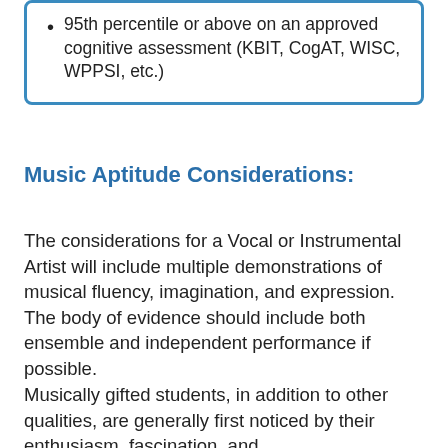95th percentile or above on an approved cognitive assessment (KBIT, CogAT, WISC, WPPSI, etc.)
Music Aptitude Considerations:
The considerations for a Vocal or Instrumental Artist will include multiple demonstrations of musical fluency, imagination, and expression. The body of evidence should include both ensemble and independent performance if possible.
Musically gifted students, in addition to other qualities, are generally first noticed by their enthusiasm, fascination, and